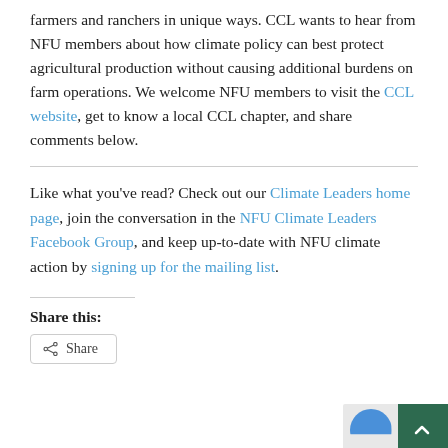farmers and ranchers in unique ways. CCL wants to hear from NFU members about how climate policy can best protect agricultural production without causing additional burdens on farm operations. We welcome NFU members to visit the CCL website, get to know a local CCL chapter, and share comments below.
Like what you've read? Check out our Climate Leaders home page, join the conversation in the NFU Climate Leaders Facebook Group, and keep up-to-date with NFU climate action by signing up for the mailing list.
Share this: